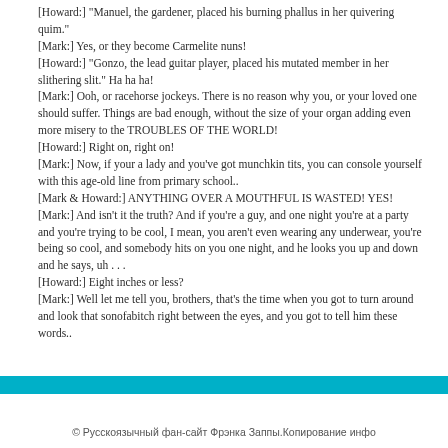[Howard:] "Manuel, the gardener, placed his burning phallus in her quivering quim."
[Mark:] Yes, or they become Carmelite nuns!
[Howard:] "Gonzo, the lead guitar player, placed his mutated member in her slithering slit." Ha ha ha!
[Mark:] Ooh, or racehorse jockeys. There is no reason why you, or your loved one should suffer. Things are bad enough, without the size of your organ adding even more misery to the TROUBLES OF THE WORLD!
[Howard:] Right on, right on!
[Mark:] Now, if your a lady and you've got munchkin tits, you can console yourself with this age-old line from primary school..
[Mark & Howard:] ANYTHING OVER A MOUTHFUL IS WASTED! YES!
[Mark:] And isn't it the truth? And if you're a guy, and one night you're at a party and you're trying to be cool, I mean, you aren't even wearing any underwear, you're being so cool, and somebody hits on you one night, and he looks you up and down and he says, uh . . .
[Howard:] Eight inches or less?
[Mark:] Well let me tell you, brothers, that's the time when you got to turn around and look that sonofabitch right between the eyes, and you got to tell him these words..
© Русскоязычный фан-сайт Фрэнка Заппы.Копирование инфо